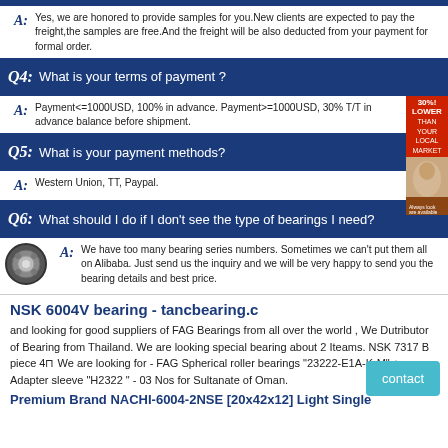A: Yes, we are honored to provide samples for you. New clients are expected to pay the freight,the samples are free.And the freight will be also deducted from your payment for formal order.
Q4: What is your terms of payment ?
A: Payment<=1000USD, 100% in advance. Payment>=1000USD, 30% T/T in advance balance before shipment.
Q5: What is your payment methods?
A: Western Union, TT, Paypal.
Q6: What should I do if I don't see the type of bearings I need?
A: We have too many bearing series numbers. Sometimes we can't put them all on Alibaba. Just send us the inquiry and we will be very happy to send you the bearing details and best price.
NSK 6004V bearing - tancbearing.c
and looking for good suppliers of FAG Bearings from all over the world , We Dutributor of Bearing from Thailand. We are looking special bearing about 2 Iteams. NSK 7317 B piece 4⊓ We are looking for - FAG Spherical roller bearings "23222-E1A-K-M" + Adapter sleeve "H2322 " - 03 Nos for Sultanate of Oman.
Premium Brand NACHI-6004-2NSE [20x42x12] Light Single